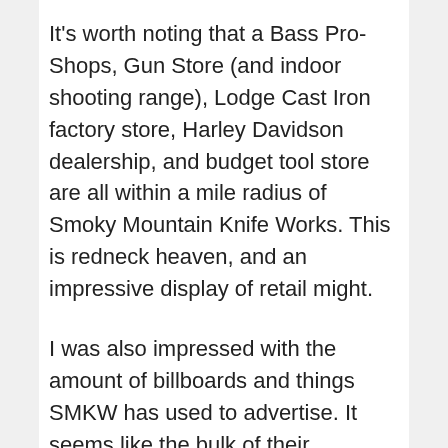It's worth noting that a Bass Pro-Shops, Gun Store (and indoor shooting range), Lodge Cast Iron factory store, Harley Davidson dealership, and budget tool store are all within a mile radius of Smoky Mountain Knife Works. This is redneck heaven, and an impressive display of retail might.
I was also impressed with the amount of billboards and things SMKW has used to advertise. It seems like the bulk of their business comes from the retail store and their mail order catalog. That is interesting as most of my experience in this industry is on the online retail side. It shows a different